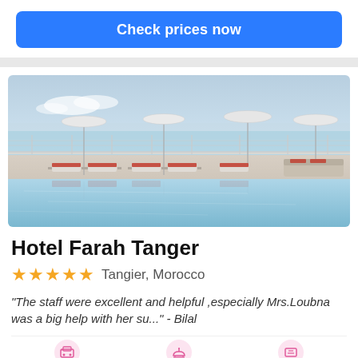Check prices now
[Figure (photo): Hotel rooftop infinity pool with lounge chairs with red cushions, white umbrellas, and a panoramic view of the sea and city under a hazy blue sky.]
Hotel Farah Tanger
★★★★★  Tangier, Morocco
"The staff were excellent and helpful ,especially Mrs.Loubna was a big help with her su..." - Bilal
Parking
Restaurant
Meeting/banquet